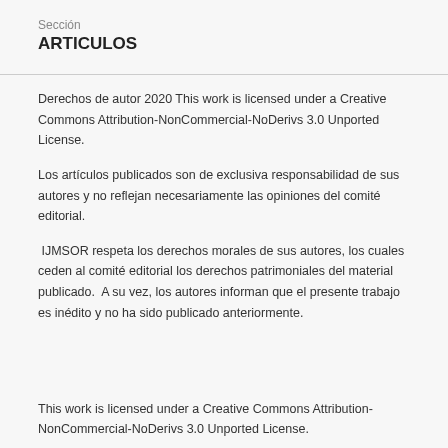Sección
ARTICULOS
Derechos de autor 2020 This work is licensed under a Creative Commons Attribution-NonCommercial-NoDerivs 3.0 Unported License.
Los artículos publicados son de exclusiva responsabilidad de sus autores y no reflejan necesariamente las opiniones del comité editorial.
IJMSOR respeta los derechos morales de sus autores, los cuales ceden al comité editorial los derechos patrimoniales del material publicado.  A su vez, los autores informan que el presente trabajo es inédito y no ha sido publicado anteriormente.
This work is licensed under a Creative Commons Attribution-NonCommercial-NoDerivs 3.0 Unported License.